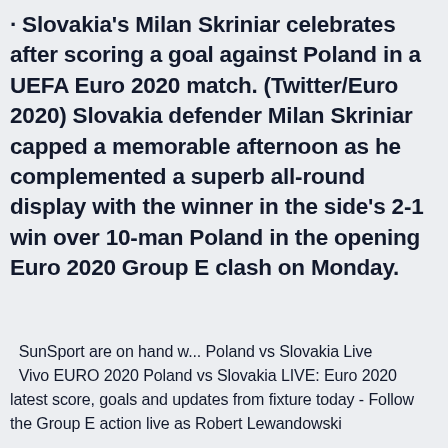· Slovakia's Milan Skriniar celebrates after scoring a goal against Poland in a UEFA Euro 2020 match. (Twitter/Euro 2020) Slovakia defender Milan Skriniar capped a memorable afternoon as he complemented a superb all-round display with the winner in the side's 2-1 win over 10-man Poland in the opening Euro 2020 Group E clash on Monday.
SunSport are on hand w... Poland vs Slovakia Live Vivo EURO 2020 Poland vs Slovakia LIVE: Euro 2020 latest score, goals and updates from fixture today - Follow the Group E action live as Robert Lewandowski